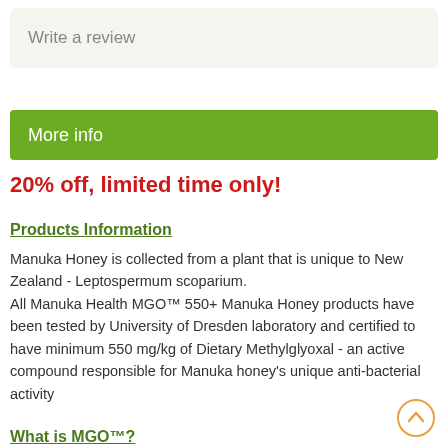Write a review
More info
20% off, limited time only!
Products Information
Manuka Honey is collected from a plant that is unique to New Zealand - Leptospermum scoparium.
All Manuka Health MGO™ 550+ Manuka Honey products have been tested by University of Dresden laboratory and certified to have minimum 550 mg/kg of Dietary Methylglyoxal - an active compound responsible for Manuka honey's unique anti-bacterial activity
What is MGO™?